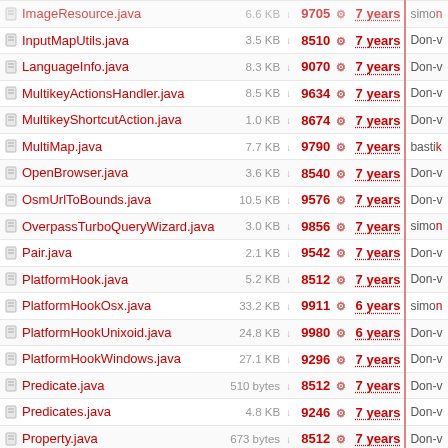| Name | Size | Rev | Age | Author |
| --- | --- | --- | --- | --- |
| ImageResource.java | 6.6 KB | 9705 | 7 years | simon |
| InputMapUtils.java | 3.5 KB | 8510 | 7 years | Don-v |
| LanguageInfo.java | 8.3 KB | 9070 | 7 years | Don-v |
| MultikeyActionsHandler.java | 8.5 KB | 9634 | 7 years | Don-v |
| MultikeyShortcutAction.java | 1.0 KB | 8674 | 7 years | Don-v |
| MultiMap.java | 7.7 KB | 9790 | 7 years | bastik |
| OpenBrowser.java | 3.6 KB | 8540 | 7 years | Don-v |
| OsmUrlToBounds.java | 10.5 KB | 9576 | 7 years | Don-v |
| OverpassTurboQueryWizard.java | 3.0 KB | 9856 | 7 years | simon |
| Pair.java | 2.1 KB | 9542 | 7 years | Don-v |
| PlatformHook.java | 5.2 KB | 8512 | 7 years | Don-v |
| PlatformHookOsx.java | 33.2 KB | 9911 | 6 years | simon |
| PlatformHookUnixoid.java | 24.8 KB | 9980 | 6 years | Don-v |
| PlatformHookWindows.java | 27.1 KB | 9296 | 7 years | Don-v |
| Predicate.java | 510 bytes | 8512 | 7 years | Don-v |
| Predicates.java | 4.8 KB | 9246 | 7 years | Don-v |
| Property.java | 673 bytes | 8512 | 7 years | Don-v |
| RightAndLefthandTraffic.java | 3.1 KB | 9639 | 7 years | stoec |
| Shortcut.java | 21.0 KB | 9231 | 7 years | Don-v |